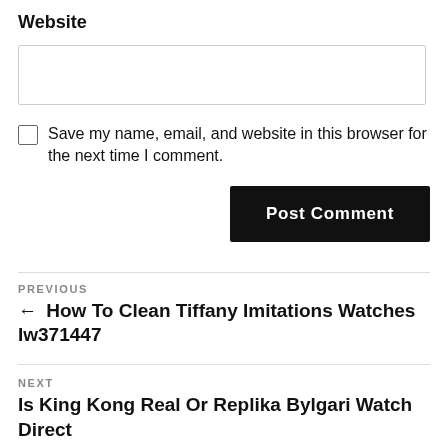Website
Save my name, email, and website in this browser for the next time I comment.
Post Comment
PREVIOUS
← How To Clean Tiffany Imitations Watches Iw371447
NEXT
Is King Kong Real Or Replika Bylgari Watch Direct